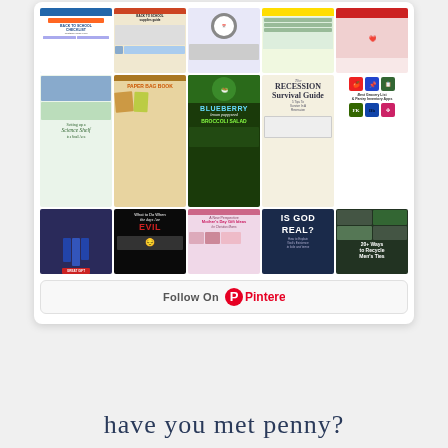[Figure (screenshot): Pinterest widget showing a grid of pinned images including back to school checklist, paper bag book, blueberry lemon poppyseed broccoli salad, recession survival guide, grocery list apps, 'Is God Real?' explainer, 20+ ways to recycle men's ties, 'What to Do When the Days Are Evil', Mother's Day gift ideas, science shelf, graduation photo, and a Follow On Pinterest button at the bottom.]
have you met penny?